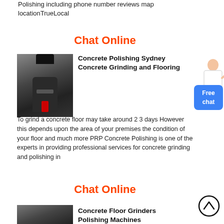Polishing including phone number reviews map locationTrueLocal
Chat Online
[Figure (photo): Industrial concrete grinding/polishing machine in a factory setting]
Concrete Polishing Sydney Concrete Grinding and Flooring
To grind a concrete floor may take around 2 3 days However this depends upon the area of your premises the condition of your floor and much more PRP Concrete Polishing is one of the experts in providing professional services for concrete grinding and polishing in
[Figure (illustration): Customer service person with free chat button]
Chat Online
[Figure (photo): Concrete floor grinder polishing machine]
Concrete Floor Grinders Polishing Machines